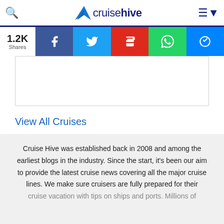cruisehive
[Figure (screenshot): Social share bar with 1.2K Shares count, Facebook, Twitter, Flipboard, WhatsApp, and Messenger buttons]
[Figure (screenshot): Empty white content box with border]
View All Cruises
Powered by Cruiseline.com
Cruise Hive was established back in 2008 and among the earliest blogs in the industry. Since the start, it's been our aim to provide the latest cruise news covering all the major cruise lines. We make sure cruisers are fully prepared for their cruise vacation with tips on ships and ports. Millions of